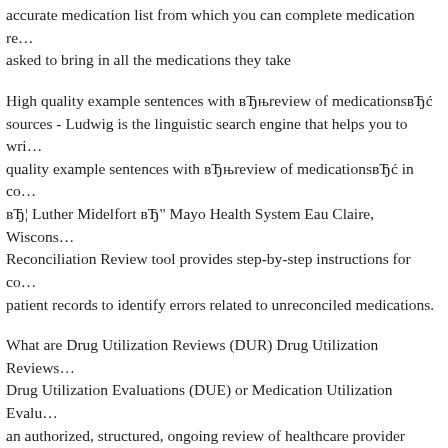accurate medication list from which you can complete medication re... asked to bring in all the medications they take
High quality example sentences with вЂњreview of medicationsвЂć sources - Ludwig is the linguistic search engine that helps you to wri... quality example sentences with вЂњreview of medicationsвЂć in co... вЂ¦ Luther Midelfort вЂ" Mayo Health System Eau Claire, Wiscons... Reconciliation Review tool provides step-by-step instructions for co... patient records to identify errors related to unreconciled medications.
What are Drug Utilization Reviews (DUR) Drug Utilization Reviews... Drug Utilization Evaluations (DUE) or Medication Utilization Evalu... an authorized, structured, ongoing review of healthcare provider pres... dispensing, and patient use of medication. DURs involve a DEPART... HEALTH POLICY/PROCEDURE 3. Sample medications must be lo... medication control system before they are dispensed to clients. 4. Sa... dispensed only by a California licensed Physician, Nurse Practitioner...
Policy on sample medications- strongly recommended What medicat... will provide oversight Which areas, which patients вЂ"Check allergi...